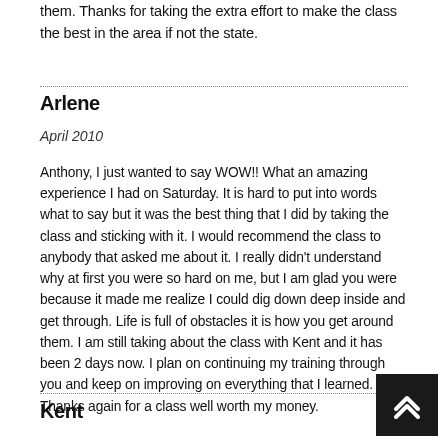them. Thanks for taking the extra effort to make the class the best in the area if not the state.
Arlene
April 2010
Anthony, I just wanted to say WOW!! What an amazing experience I had on Saturday. It is hard to put into words what to say but it was the best thing that I did by taking the class and sticking with it. I would recommend the class to anybody that asked me about it. I really didn't understand why at first you were so hard on me, but I am glad you were because it made me realize I could dig down deep inside and get through. Life is full of obstacles it is how you get around them. I am still taking about the class with Kent and it has been 2 days now. I plan on continuing my training through you and keep on improving on everything that I learned. Thanks again for a class well worth my money.
Kent